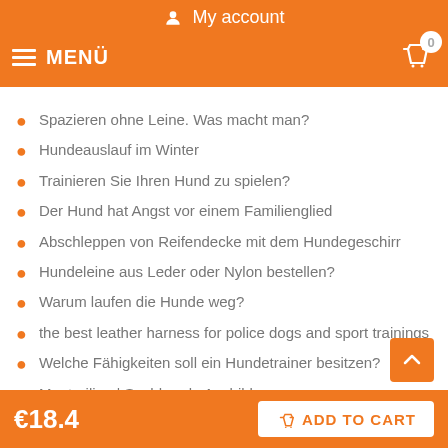My account
MENÜ  0
Spazieren ohne Leine. Was macht man?
Hundeauslauf im Winter
Trainieren Sie Ihren Hund zu spielen?
Der Hund hat Angst vor einem Familienglied
Abschleppen von Reifendecke mit dem Hundegeschirr
Hundeleine aus Leder oder Nylon bestellen?
Warum laufen die Hunde weg?
the best leather harness for police dogs and sport trainings
Welche Fähigkeiten soll ein Hundetrainer besitzen?
Mantrailing | Suchhunde Ausbildung
€18.4  ADD TO CART